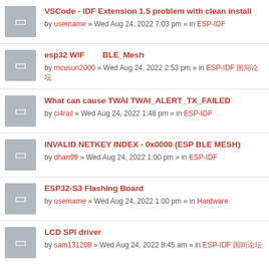VSCode - IDF Extension 1.5 problem with clean install
by username » Wed Aug 24, 2022 7:03 pm » in ESP-IDF
esp32 WIF BLE_Mesh
by mcusun2000 » Wed Aug 24, 2022 2:53 pm » in ESP-IDF 中文论坛
What can cause TWAI TWAI_ALERT_TX_FAILED
by ci4rail » Wed Aug 24, 2022 1:48 pm » in ESP-IDF
INVALID NETKEY INDEX - 0x0000 (ESP BLE MESH)
by dhari99 » Wed Aug 24, 2022 1:00 pm » in ESP-IDF
ESP32-S3 Flashing Board
by username » Wed Aug 24, 2022 1:00 pm » in Hardware
LCD SPI driver
by sam131208 » Wed Aug 24, 2022 8:45 am » in ESP-IDF 中文论坛